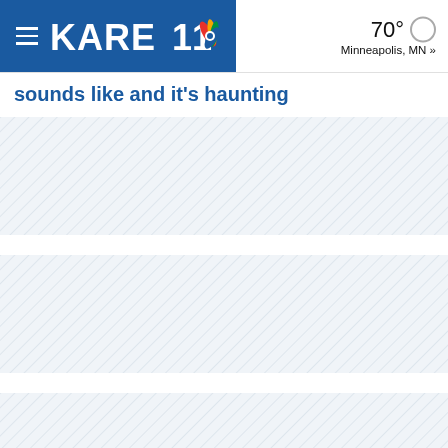KARE 11 — 70° Minneapolis, MN »
sounds like and it's haunting
[Figure (other): Advertisement placeholder block with diagonal light blue hatching pattern, approximately 120px tall]
[Figure (other): Advertisement placeholder block with diagonal light blue hatching pattern, approximately 130px tall]
[Figure (other): Advertisement placeholder block with diagonal light blue hatching pattern, approximately 130px tall]